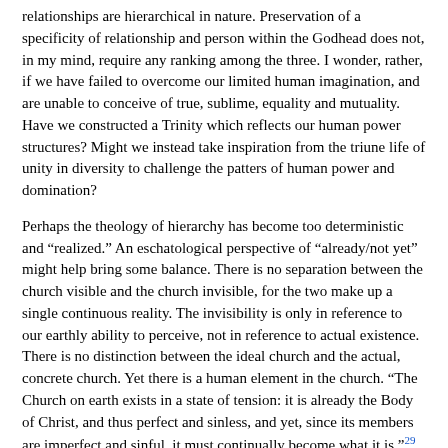relationships are hierarchical in nature. Preservation of a specificity of relationship and person within the Godhead does not, in my mind, require any ranking among the three. I wonder, rather, if we have failed to overcome our limited human imagination, and are unable to conceive of true, sublime, equality and mutuality. Have we constructed a Trinity which reflects our human power structures? Might we instead take inspiration from the triune life of unity in diversity to challenge the patters of human power and domination?
Perhaps the theology of hierarchy has become too deterministic and “realized.” An eschatological perspective of “already/not yet” might help bring some balance. There is no separation between the church visible and the church invisible, for the two make up a single continuous reality. The invisibility is only in reference to our earthly ability to perceive, not in reference to actual existence. There is no distinction between the ideal church and the actual, concrete church. Yet there is a human element in the church. “The Church on earth exists in a state of tension: it is already the Body of Christ, and thus perfect and sinless, and yet, since its members are imperfect and sinful, it must continually become what it is.”²⁹ “The mystery of the church consists in the very fact that together sinners become something different from what they are as individuals; this ‘something different’ is the Body of Christ”³⁰.